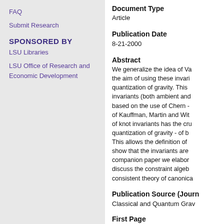FAQ
Submit Research
SPONSORED BY
LSU Libraries
LSU Office of Research and Economic Development
Document Type
Article
Publication Date
8-21-2000
Abstract
We generalize the idea of Va... the aim of using these invari... quantization of gravity. This ... invariants (both ambient and... based on the use of Chern -... of Kauffman, Martin and Wit... of knot invariants has the cru... quantization of gravity - of b... This allows the definition of ... show that the invariants are ... companion paper we elabor... discuss the constraint algeb... consistent theory of canonica...
Publication Source (Journ...
Classical and Quantum Grav...
First Page